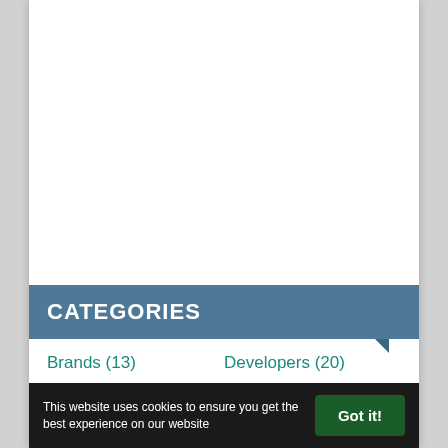CATEGORIES
Brands (13)
Developers (20)
Fitness (85)
Opinion (7)
Android (30)
Fashion (24)
This website uses cookies to ensure you get the best experience on our website